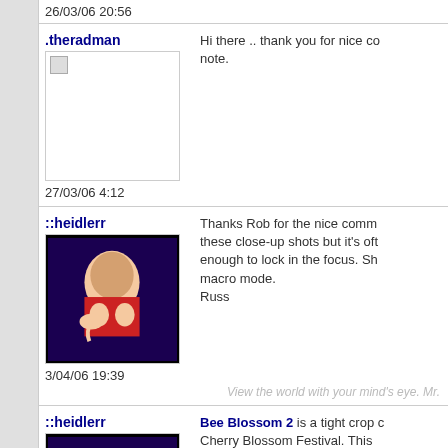26/03/06 20:56
.theradman
27/03/06 4:12
Hi there .. thank you for nice co note.
::heidlerr
3/04/06 19:39
Thanks Rob for the nice comm these close-up shots but it's oft enough to lock in the focus. Sh macro mode.
Russ
View the world with your mind's eye. Mr.
::heidlerr
5/04/06 22:42
Bee Blossom 2 is a tight crop c Cherry Blossom Festival. This appreciate your support. Thank on this image.
Russ
View the world with your mind's eye. Mr.
®mar
Hey Rob. It's quite a complime am now working on a team tryi flood protection in New Orleans little time for photography.